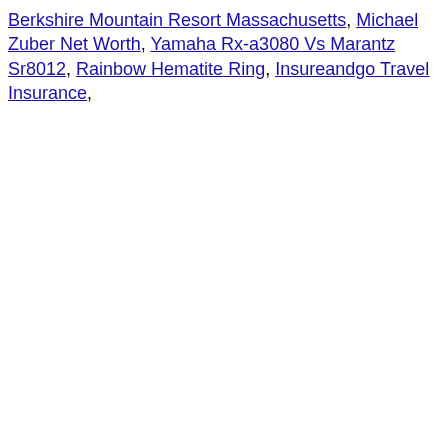Berkshire Mountain Resort Massachusetts, Michael Zuber Net Worth, Yamaha Rx-a3080 Vs Marantz Sr8012, Rainbow Hematite Ring, Insureandgo Travel Insurance,